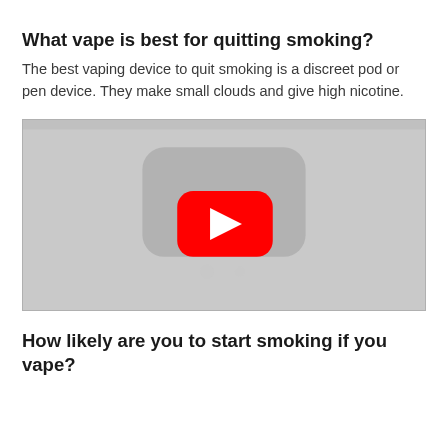What vape is best for quitting smoking?
The best vaping device to quit smoking is a discreet pod or pen device. They make small clouds and give high nicotine.
[Figure (screenshot): Embedded YouTube video player thumbnail showing a grey background with a YouTube play button (red rounded rectangle with white triangle) in the center.]
How likely are you to start smoking if you vape?